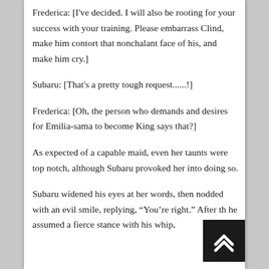Frederica: [I've decided. I will also be rooting for your success with your training. Please embarrass Clind, make him contort that nonchalant face of his, and make him cry.]
Subaru: [That's a pretty tough request......!]
Frederica: [Oh, the person who demands and desires for Emilia-sama to become King says that?]
As expected of a capable maid, even her taunts were top notch, although Subaru provoked her into doing so.
Subaru widened his eyes at her words, then nodded with an evil smile, replying, “You’re right.” After th... he assumed a fierce stance with his whip,